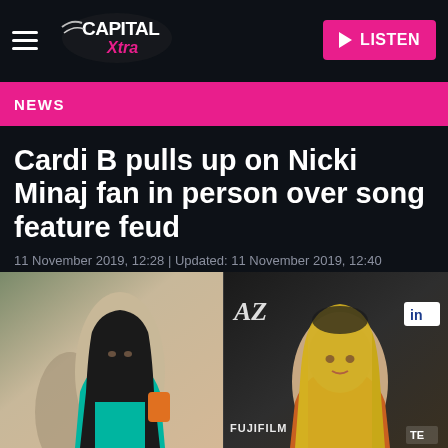Capital Xtra — LISTEN
NEWS
Cardi B pulls up on Nicki Minaj fan in person over song feature feud
11 November 2019, 12:28 | Updated: 11 November 2019, 12:40
[Figure (photo): Side-by-side composite photo of Cardi B (left, wearing teal outfit with long straight black hair) and Nicki Minaj (right, wearing orange outfit with blonde hair), with Harper's Bazaar and Fujifilm branding visible in background]